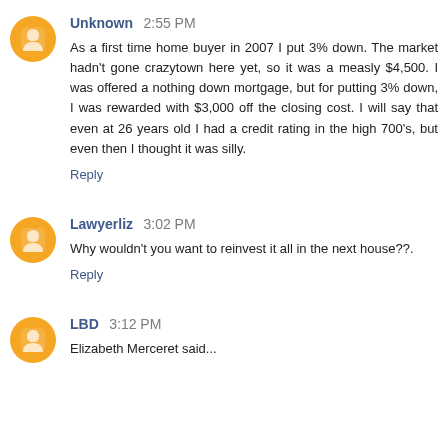Unknown 2:55 PM
As a first time home buyer in 2007 I put 3% down. The market hadn't gone crazytown here yet, so it was a measly $4,500. I was offered a nothing down mortgage, but for putting 3% down, I was rewarded with $3,000 off the closing cost. I will say that even at 26 years old I had a credit rating in the high 700's, but even then I thought it was silly.
Reply
Lawyerliz 3:02 PM
Why wouldn't you want to reinvest it all in the next house??.
Reply
LBD 3:12 PM
Elizabeth Merceret said...